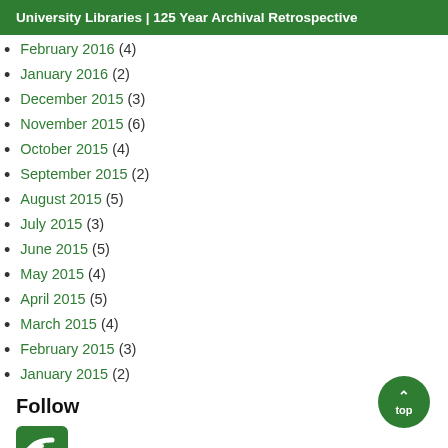University Libraries | 125 Year Archival Retrospective
February 2016 (4)
January 2016 (2)
December 2015 (3)
November 2015 (6)
October 2015 (4)
September 2015 (2)
August 2015 (5)
July 2015 (3)
June 2015 (5)
May 2015 (4)
April 2015 (5)
March 2015 (4)
February 2015 (3)
January 2015 (2)
Follow